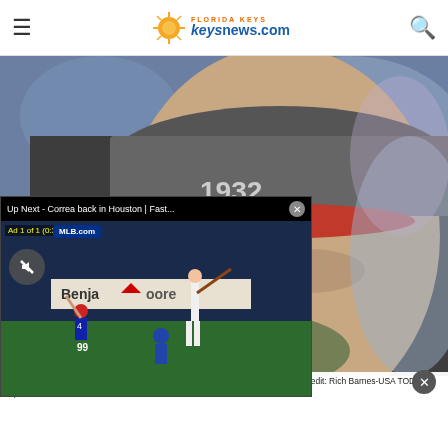keysnews.com — Florida Keys news website header with hamburger menu and search icon
[Figure (photo): Close-up photo of a man wearing a grey baseball cap with '1932' text and a red brim, with a camouflage scarf around his neck. Background is blurred stadium/sports scene. This appears to be a Washington Redskins owner at a game against the Buffalo Bills at New Era Field.]
[Figure (screenshot): Video player overlay showing 'Up Next - Correa back in Houston | Fast...' with close button X. Ad 1 of 1 (0:30) with MLB.com badge, mute button, Yankees.com/2023TICKETS URL, baseball game footage showing a batter, catcher, and fielder with Benjamin Moore advertisement visible.]
hington Redskins owner against the Buffalo Bills at New Era Field. Mandatory Credit: Rich Barnes-USA TODAY Sports